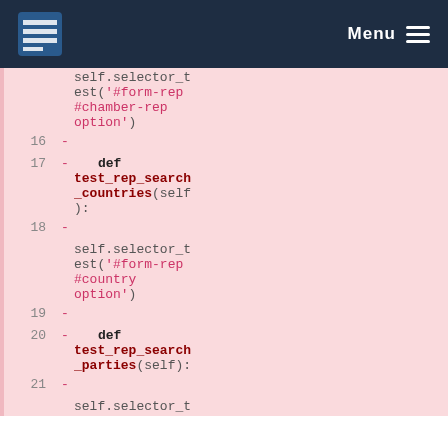Menu
self.selector_test('#form-rep #chamber-rep option')
16  -
17  -    def test_rep_search_countries(self):
18  -
self.selector_test('#form-rep #country option')
19  -
20  -    def test_rep_search_parties(self):
21  -
self.selector_t